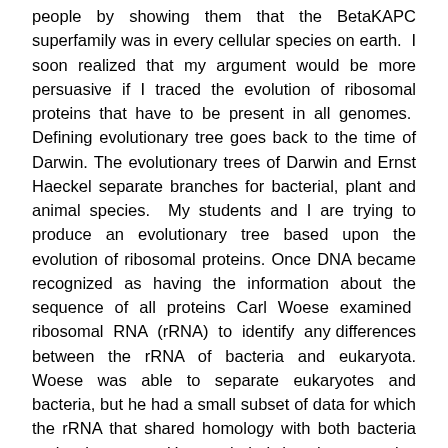people by showing them that the BetaKAPC superfamily was in every cellular species on earth.  I soon realized that my argument would be more persuasive if I traced the evolution of ribosomal proteins that have to be present in all genomes.  Defining evolutionary tree goes back to the time of Darwin. The evolutionary trees of Darwin and Ernst Haeckel separate branches for bacterial, plant and animal species.  My students and I are trying to produce an evolutionary tree based upon the evolution of ribosomal proteins. Once DNA became recognized as having the information about the sequence of all proteins Carl Woese examined  ribosomal  RNA  (rRNA)  to  identify  any differences between the rRNA of bacteria and eukaryota. Woese was able to separate eukaryotes and bacteria, but he had a small subset of data for which the rRNA that shared homology with both bacteria and eukaryotes.  He concluded that these species were at the root of the evolutionary tree and called them Archaea.  His idea that the archaea were at the base of the evolutionary tree is no